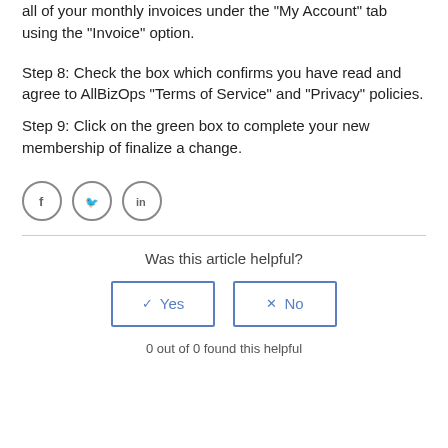all of your monthly invoices under the "My Account" tab using the "Invoice" option.
Step 8: Check the box which confirms you have read and agree to AllBizOps "Terms of Service" and "Privacy" policies.
Step 9: Click on the green box to complete your new membership of finalize a change.
[Figure (infographic): Social media share icons: Facebook, Twitter, LinkedIn in circular bordered buttons]
Was this article helpful?
[Figure (infographic): Yes and No buttons with check and X icons, blue bordered]
0 out of 0 found this helpful